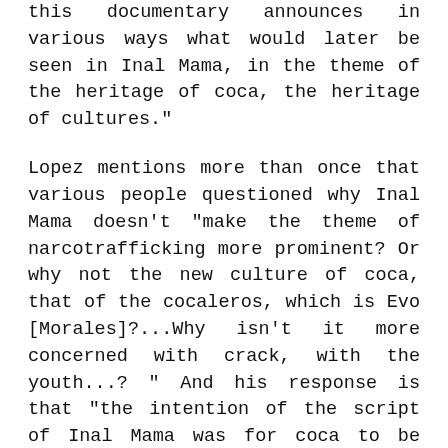this documentary announces in various ways what would later be seen in Inal Mama, in the theme of the heritage of coca, the heritage of cultures."
Lopez mentions more than once that various people questioned why Inal Mama doesn't "make the theme of narcotrafficking more prominent? Or why not the new culture of coca, that of the cocaleros, which is Evo [Morales]?...Why isn't it more concerned with crack, with the youth...? " And his response is that "the intention of the script of Inal Mama was for coca to be placed within the social fabric... which is where they have a clearer sense of it. Because coca produces an economic value and it produces a symbolic value, an abstract value."
Within the film this economic dimension particularly located in the figure of Nacipio, inmate of San Pedro prison who was